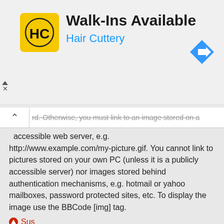[Figure (other): Hair Cuttery advertisement banner with logo, 'Walk-Ins Available' text, and navigation arrow icon]
rd. Otherwise, you must link to an image stored on a publicly accessible web server, e.g. http://www.example.com/my-picture.gif. You cannot link to pictures stored on your own PC (unless it is a publicly accessible server) nor images stored behind authentication mechanisms, e.g. hotmail or yahoo mailboxes, password protected sites, etc. To display the image use the BBCode [img] tag.
Sus
What are global announcements?
Global announcements contain important information and you should read them whenever possible. They will appear at the top of every forum and within your User Control Panel. Global announcement permissions are granted by the board administrator.
Sus